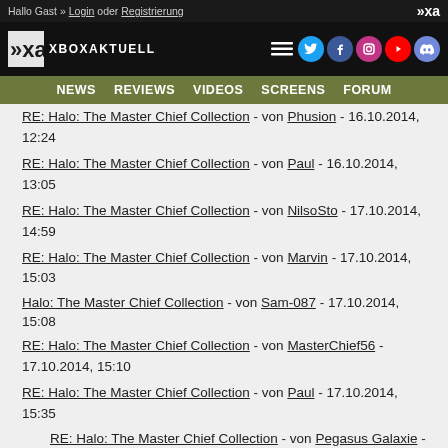Hallo Gast » Login oder Registrierung
[Figure (logo): Xbox Aktuell logo with social media icons (Twitter, Facebook, Instagram, YouTube, Discord)]
NEWS  REVIEWS  VIDEOS  SCREENS  FORUM
RE: Halo: The Master Chief Collection - von Phusion - 16.10.2014, 12:24
RE: Halo: The Master Chief Collection - von Paul - 16.10.2014, 13:05
RE: Halo: The Master Chief Collection - von NilsoSto - 17.10.2014, 14:59
RE: Halo: The Master Chief Collection - von Marvin - 17.10.2014, 15:03
Halo: The Master Chief Collection - von Sam-087 - 17.10.2014, 15:08
RE: Halo: The Master Chief Collection - von MasterChief56 - 17.10.2014, 15:10
RE: Halo: The Master Chief Collection - von Paul - 17.10.2014, 15:35
RE: Halo: The Master Chief Collection - von Pegasus Galaxie -